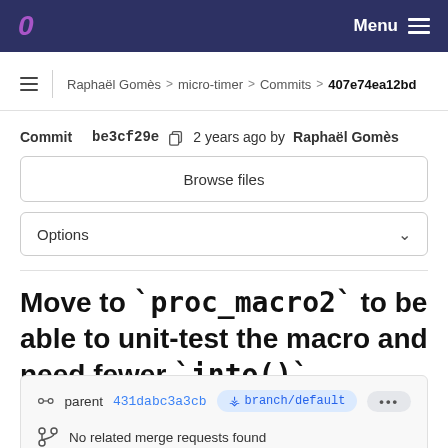Menu
Raphaël Gomès > micro-timer > Commits > 407e74ea12bd
Commit be3cf29e  2 years ago by Raphaël Gomès
Browse files
Options
Move to `proc_macro2` to be able to unit-test the macro and need fewer `into()`
parent 431dabc3a3cb  branch/default  ...
No related merge requests found